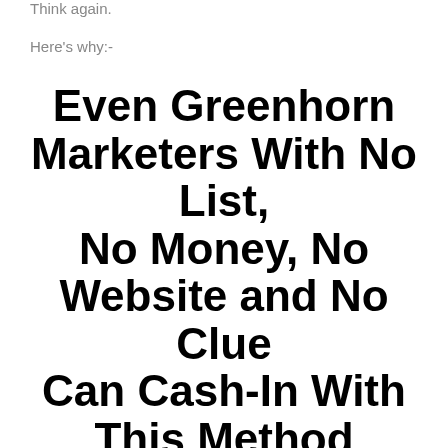Think again.
Here's why:-
Even Greenhorn Marketers With No List, No Money, No Website and No Clue Can Cash-In With This Method Because You're...